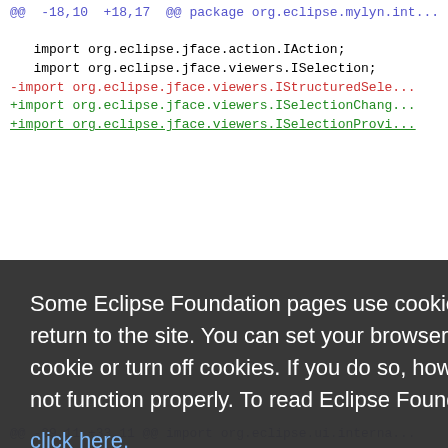[Figure (screenshot): Code diff view showing Java import statements with blue, red, and green colored lines indicating unchanged, removed, and added lines respectively. Visible imports include org.eclipse.jface.action.IAction, org.eclipse.jface.viewers.ISelection, -import org.eclipse.jface.viewers.IStructuredSele..., +import org.eclipse.jface.viewers.ISelectionChang..., +import org.eclipse.jface.viewers.ISelectionProvi..., and partial lines on the right side showing ionChange, ewer, ns.core.B, .bugs.wi, gate, g.LogEnt, g.LogSess, .logview, .logview, ce, error lo, and @@ -29,11 +33,11 @@ import org.eclipse.ui.interna...]
Some Eclipse Foundation pages use cookies to better serve you when you return to the site. You can set your browser to notify you before you receive a cookie or turn off cookies. If you do so, however, some areas of some sites may not function properly. To read Eclipse Foundation Privacy Policy click here.